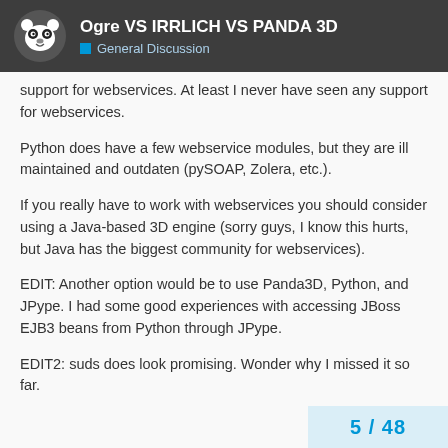Ogre VS IRRLICH VS PANDA 3D — General Discussion
support for webservices. At least I never have seen any support for webservices.
Python does have a few webservice modules, but they are ill maintained and outdaten (pySOAP, Zolera, etc.).
If you really have to work with webservices you should consider using a Java-based 3D engine (sorry guys, I know this hurts, but Java has the biggest community for webservices).
EDIT: Another option would be to use Panda3D, Python, and JPype. I had some good experiences with accessing JBoss EJB3 beans from Python through JPype.
EDIT2: suds does look promising. Wonder why I missed it so far.
5 / 48